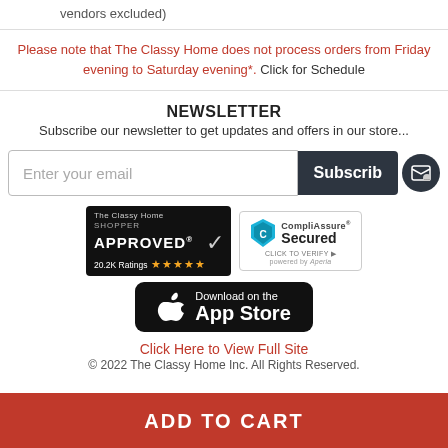vendors excluded)
Please note that The Classy Home does not process orders from Friday evening to Saturday evening*. Click for Schedule
NEWSLETTER
Subscribe our newsletter to get updates and offers in our store...
[Figure (screenshot): Email input field with placeholder 'Enter your email' and a dark Subscribe button]
[Figure (logo): The Classy Home Shopper Approved badge with 20.2K Ratings and 5 stars]
[Figure (logo): CompliAssure Secured badge powered by Aperia]
[Figure (logo): Download on the App Store button]
Click Here to View Full Site
© 2022 The Classy Home Inc. All Rights Reserved.
ADD TO CART